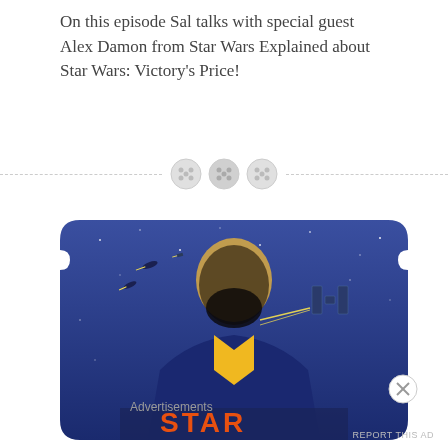On this episode Sal talks with special guest Alex Damon from Star Wars Explained about Star Wars: Victory's Price!
[Figure (illustration): Star Wars themed illustration showing a bearded man in the center foreground with starfighters (TIE fighters and X-wing style ships) flying in a blue starry sky background, with orange text starting 'STAR' at the bottom. The image has a decorative ticket/banner shaped border.]
Advertisements